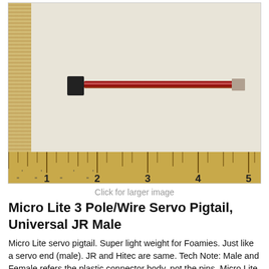[Figure (photo): A Micro Lite 3 Pole/Wire Servo Pigtail with a black female connector on one end and a small male connector on the other, connected by a thin red/brown wire approximately 5 inches long, shown against a light background with a ruler along the bottom measuring 1 to 5 inches.]
Click for larger image
Micro Lite 3 Pole/Wire Servo Pigtail, Universal JR Male
Micro Lite servo pigtail. Super light weight for Foamies. Just like a servo end (male). JR and Hitec are same. Tech Note: Male and Female refers the plastic connector body, not the pins. Micro Lite...